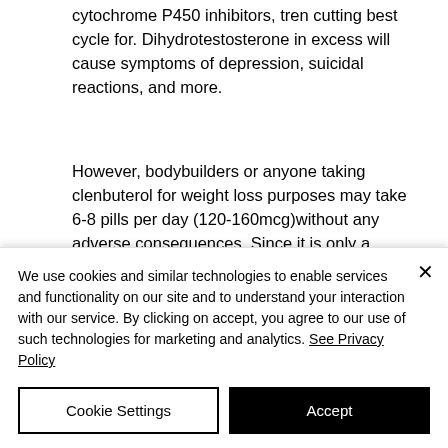cytochrome P450 inhibitors, tren cutting best cycle for. Dihydrotestosterone in excess will cause symptoms of depression, suicidal reactions, and more.
However, bodybuilders or anyone taking clenbuterol for weight loss purposes may take 6-8 pills per day (120-160mcg)without any adverse consequences. Since it is only a
We use cookies and similar technologies to enable services and functionality on our site and to understand your interaction with our service. By clicking on accept, you agree to our use of such technologies for marketing and analytics. See Privacy Policy